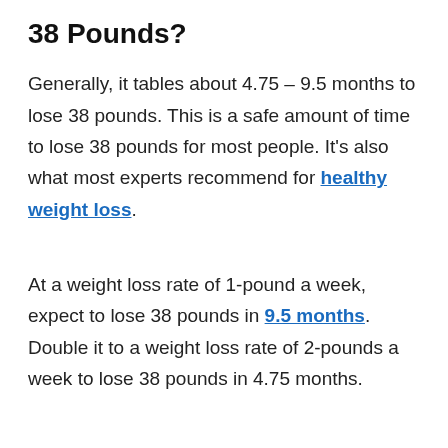38 Pounds?
Generally, it tables about 4.75 – 9.5 months to lose 38 pounds. This is a safe amount of time to lose 38 pounds for most people. It’s also what most experts recommend for healthy weight loss.
At a weight loss rate of 1-pound a week, expect to lose 38 pounds in 9.5 months. Double it to a weight loss rate of 2-pounds a week to lose 38 pounds in 4.75 months.